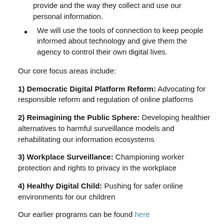provide and the way they collect and use our personal information.
We will use the tools of connection to keep people informed about technology and give them the agency to control their own digital lives.
Our core focus areas include:
1) Democratic Digital Platform Reform: Advocating for responsible reform and regulation of online platforms
2) Reimagining the Public Sphere: Developing healthier alternatives to harmful surveillance models and rehabilitating our information ecosystems
3) Workplace Surveillance: Championing worker protection and rights to privacy in the workplace
4) Healthy Digital Child: Pushing for safer online environments for our children
Our earlier programs can be found here